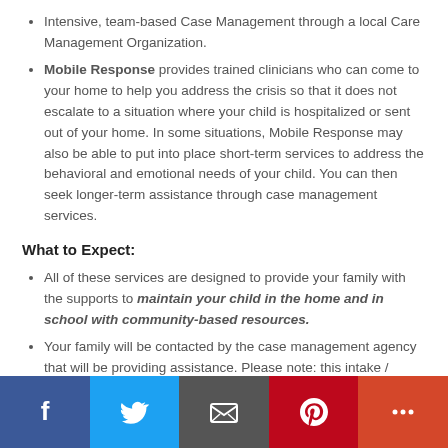Intensive, team-based Case Management through a local Care Management Organization.
Mobile Response provides trained clinicians who can come to your home to help you address the crisis so that it does not escalate to a situation where your child is hospitalized or sent out of your home. In some situations, Mobile Response may also be able to put into place short-term services to address the behavioral and emotional needs of your child. You can then seek longer-term assistance through case management services.
What to Expect:
All of these services are designed to provide your family with the supports to maintain your child in the home and in school with community-based resources.
Your family will be contacted by the case management agency that will be providing assistance. Please note: this intake / assessment/referral process can take 3 to 5 weeks.
Social share bar: Facebook, Twitter, Email, Pinterest, More